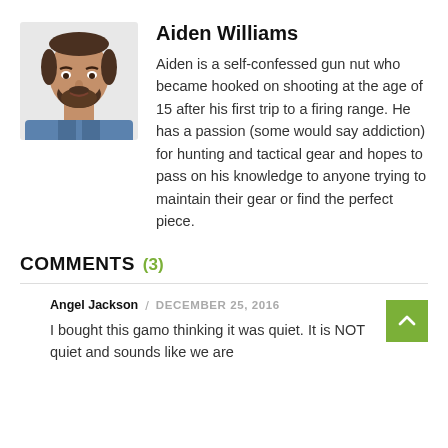[Figure (photo): Headshot of a bearded man in a denim shirt, smiling slightly, against a white background]
Aiden Williams
Aiden is a self-confessed gun nut who became hooked on shooting at the age of 15 after his first trip to a firing range. He has a passion (some would say addiction) for hunting and tactical gear and hopes to pass on his knowledge to anyone trying to maintain their gear or find the perfect piece.
COMMENTS (3)
Angel Jackson / DECEMBER 25, 2016
I bought this gamo thinking it was quiet. It is NOT quiet and sounds like we are